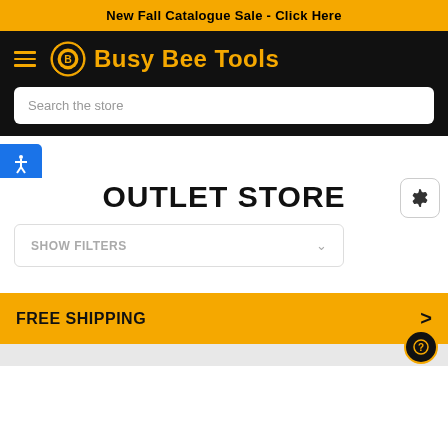New Fall Catalogue Sale - Click Here
[Figure (logo): Busy Bee Tools logo with gear icon and brand name in yellow on black background, with hamburger menu and search bar]
OUTLET STORE
SHOW FILTERS
FREE SHIPPING